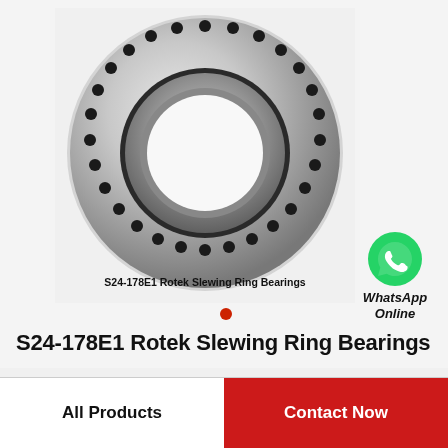[Figure (photo): Photograph of S24-178E1 Rotek Slewing Ring Bearing — a large circular metallic ring bearing with bolt holes arranged around the circumference, shown against a light background. Text overlay reads 'S24-178E1 Rotek Slewing Ring Bearings'.]
[Figure (logo): WhatsApp green chat icon with text 'WhatsApp Online' below it in bold italic.]
S24-178E1 Rotek Slewing Ring Bearings
All Products | Contact Now